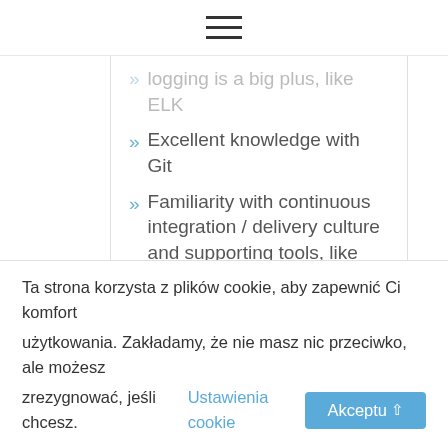☰ (hamburger menu icon)
logging is a big plus, like ELK
Excellent knowledge with Git
Familiarity with continuous integration / delivery culture and supporting tools, like Gitlab, Jenkins
Team player and enabler, strong communication skills
Ta strona korzysta z plików cookie, aby zapewnić Ci komfort użytkowania. Zakładamy, że nie masz nic przeciwko, ale możesz zrezygnować, jeśli chcesz. Ustawienia cookie Akceptuję